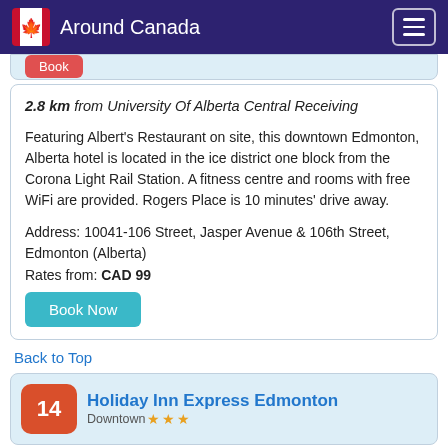Around Canada
2.8 km from University Of Alberta Central Receiving

Featuring Albert's Restaurant on site, this downtown Edmonton, Alberta hotel is located in the ice district one block from the Corona Light Rail Station. A fitness centre and rooms with free WiFi are provided. Rogers Place is 10 minutes' drive away.

Address: 10041-106 Street, Jasper Avenue & 106th Street, Edmonton (Alberta)
Rates from: CAD 99
Back to Top
14 Holiday Inn Express Edmonton Downtown